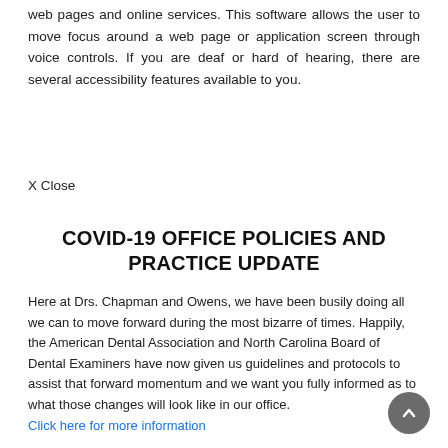web pages and online services. This software allows the user to move focus around a web page or application screen through voice controls. If you are deaf or hard of hearing, there are several accessibility features available to you.
X Close
COVID-19 OFFICE POLICIES AND PRACTICE UPDATE
Here at Drs. Chapman and Owens, we have been busily doing all we can to move forward during the most bizarre of times. Happily, the American Dental Association and North Carolina Board of Dental Examiners have now given us guidelines and protocols to assist that forward momentum and we want you fully informed as to what those changes will look like in our office.
Click here for more information